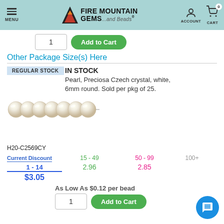Fire Mountain Gems and Beads - MENU | ACCOUNT | CART 0
1  Add to Cart
Other Package Size(s) Here
REGULAR STOCK
IN STOCK
Pearl, Preciosa Czech crystal, white, 6mm round. Sold per pkg of 25.
[Figure (photo): Row of white pearl beads on a string]
H20-C2569CY
| Current Discount | 15 - 49 | 50 - 99 | 100+ |
| --- | --- | --- | --- |
| 1 - 14 | 15 - 49 | 50 - 99 | 100+ |
| $3.05 | 2.96 | 2.85 |  |
As Low As $0.12 per bead
1  Add to Cart